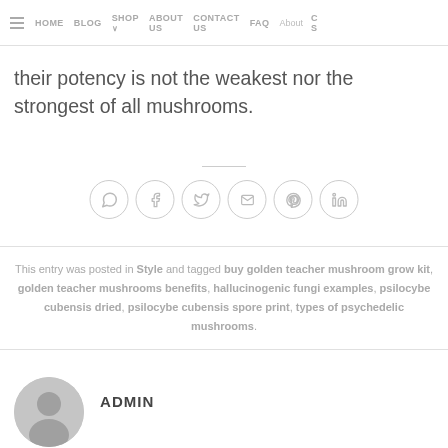≡ HOME  BLOG  SHOP ∨  ABOUT US  CONTACT US  FAQ  About  S
their potency is not the weakest nor the strongest of all mushrooms.
[Figure (other): Social sharing icons: WhatsApp, Facebook, Twitter, Email, Pinterest, LinkedIn]
This entry was posted in Style and tagged buy golden teacher mushroom grow kit, golden teacher mushrooms benefits, hallucinogenic fungi examples, psilocybe cubensis dried, psilocybe cubensis spore print, types of psychedelic mushrooms.
[Figure (other): Generic user avatar icon (gray silhouette)]
ADMIN